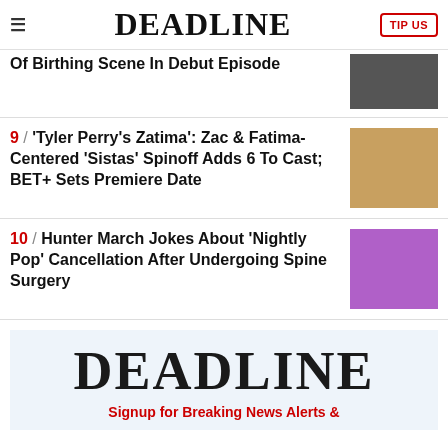DEADLINE | TIP US
Of Birthing Scene In Debut Episode
9 / 'Tyler Perry's Zatima': Zac & Fatima-Centered 'Sistas' Spinoff Adds 6 To Cast; BET+ Sets Premiere Date
10 / Hunter March Jokes About 'Nightly Pop' Cancellation After Undergoing Spine Surgery
DEADLINE
Signup for Breaking News Alerts &